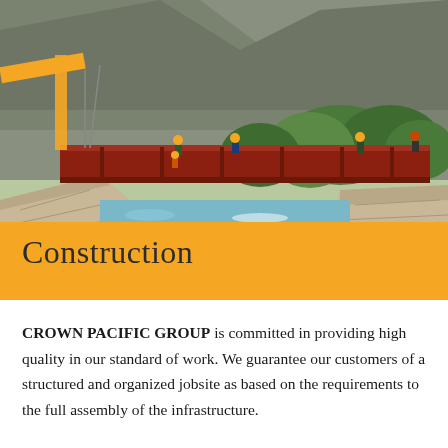[Figure (photo): Construction workers installing a large red steel bridge beam over a fast-flowing river, with rocky mountains and green trees in the background. A yellow crane is visible on the left.]
Construction
CROWN PACIFIC GROUP is committed in providing high quality in our standard of work. We guarantee our customers of a structured and organized jobsite as based on the requirements to the full assembly of the infrastructure.